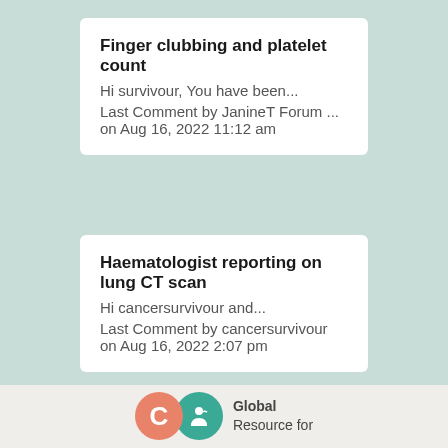Finger clubbing and platelet count
Hi survivour, You have been...
Last Comment by JanineT Forum ... on Aug 16, 2022 11:12 am
Haematologist reporting on lung CT scan
Hi cancersurvivour and...
Last Comment by cancersurvivour on Aug 16, 2022 2:07 pm
LOAD MORE
[Figure (logo): Two overlapping circular logos - a salmon/orange circle with letter C and a teal circle with a leaf/person icon - beside text reading 'Global Resource for']
Global
Resource for